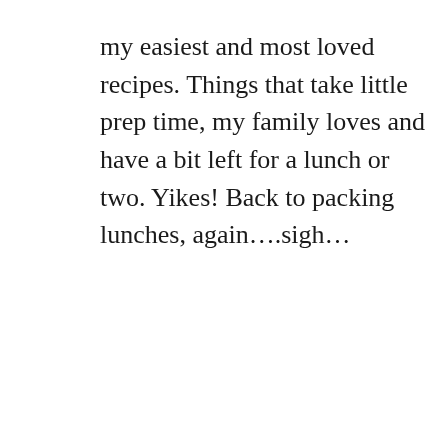my easiest and most loved recipes.  Things that take little prep time, my family loves and have a bit left for a lunch or two.  Yikes! Back to packing lunches, again….sigh…